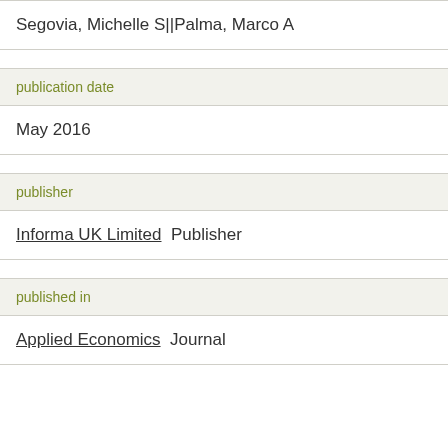Segovia, Michelle S||Palma, Marco A
publication date
May 2016
publisher
Informa UK Limited  Publisher
published in
Applied Economics  Journal